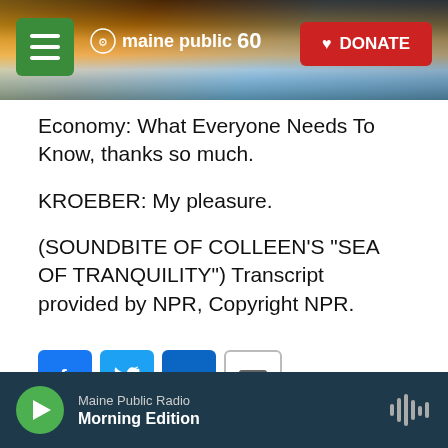[Figure (screenshot): Maine Public Radio website header with sunrise/landscape background, green hamburger menu button, Maine Public 60 logo in white, and red DONATE button]
Economy: What Everyone Needs To Know,  thanks so much.
KROEBER: My pleasure.
(SOUNDBITE OF COLLEEN'S "SEA OF TRANQUILITY") Transcript provided by NPR, Copyright NPR.
[Figure (infographic): Social share buttons: Facebook (blue), Twitter (blue), LinkedIn (blue), Email (white/outlined)]
Maine Public Radio  Morning Edition